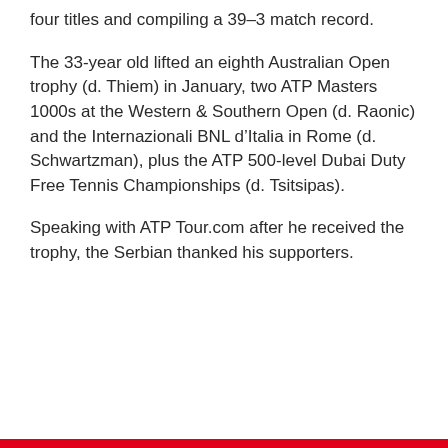four titles and compiling a 39–3 match record.
The 33-year old lifted an eighth Australian Open trophy (d. Thiem) in January, two ATP Masters 1000s at the Western & Southern Open (d. Raonic) and the Internazionali BNL d'Italia in Rome (d. Schwartzman), plus the ATP 500-level Dubai Duty Free Tennis Championships (d. Tsitsipas).
Speaking with ATP Tour.com after he received the trophy, the Serbian thanked his supporters.